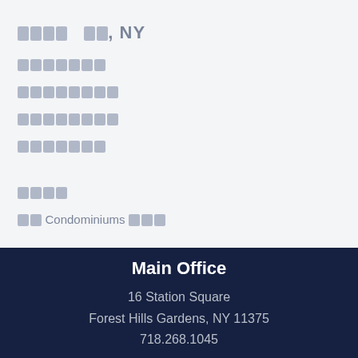████ ██, NY
███████
████████
████████
███████
████
██ Condominiums ███
Main Office
16 Station Square
Forest Hills Gardens, NY 11375
718.268.1045